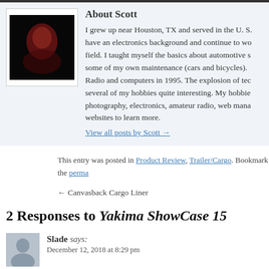[Figure (photo): Author photo of Scott - dark image with red lighting showing a person's silhouette]
About Scott
I grew up near Houston, TX and served in the U. S. have an electronics background and continue to work in the field. I taught myself the basics about automotive some of my own maintenance (cars and bicycles). Radio and computers in 1995. The explosion of technology made several of my hobbies quite interesting. My hobbies include photography, electronics, amateur radio, web management websites to learn more.
View all posts by Scott →
This entry was posted in Product Review, Trailer/Cargo. Bookmark the perma
← Canvasback Cargo Liner
2 Responses to Yakima ShowCase 15
[Figure (photo): Generic commenter avatar - grey silhouette person icon]
Slade says:
December 12, 2018 at 8:29 pm